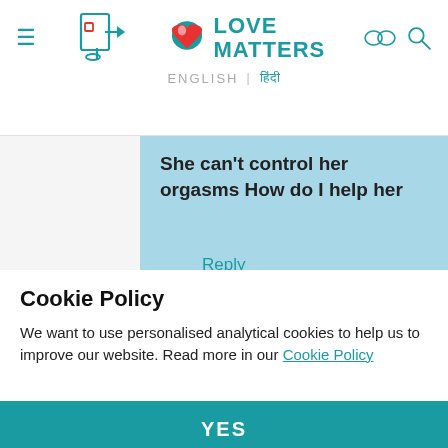Love Matters — ENGLISH | हिंदी
She can't control her orgasms How do I help her
Reply
Thu, 11/14/2019 - 19:13
coming from Beta? She cant control her 'orgasms' but you can
Cookie Policy
We want to use personalised analytical cookies to help us to improve our website. Read more in our Cookie Policy
YES